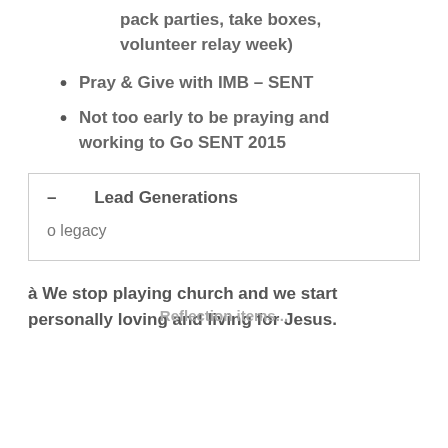pack parties, take boxes, volunteer relay week)
Pray & Give with IMB – SENT
Not too early to be praying and working to Go SENT 2015
– Lead Generations

o legacy
à We stop playing church and we start personally loving and living for Jesus.
Reflection items...